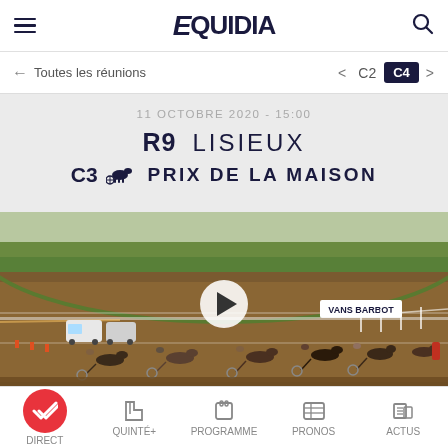EQUIDIA
← Toutes les réunions    < C2  C4 >
11 OCTOBRE 2020 - 15:00
R9  LISIEUX
C3  🐎  PRIX DE LA MAISON
[Figure (screenshot): Video thumbnail of a harness horse race at Lisieux track with multiple horses and sulkies on a reddish-brown dirt track. A play button is overlaid in the center.]
DIRECT  QUINTÉ+  PROGRAMME  PRONOS  ACTUS